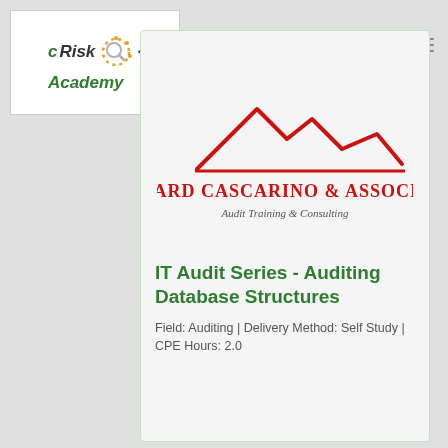[Figure (logo): cRisk Academy logo with magnifying glass icon, green text]
[Figure (logo): Richard Cascarino & Associates logo with red mountain peaks above the text, tagline: Audit Training & Consulting]
IT Audit Series - Auditing Database Structures
Field: Auditing | Delivery Method: Self Study | CPE Hours: 2.0